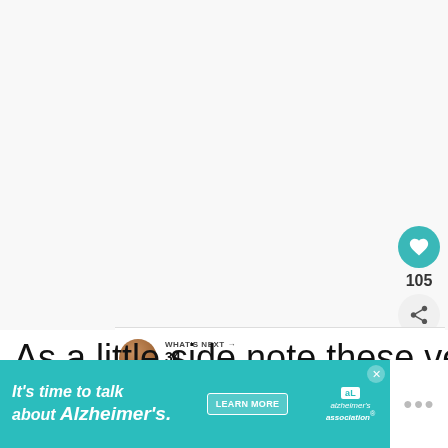[Figure (screenshot): White blank area at top of webpage]
[Figure (infographic): Circular teal like/heart button showing 105 likes, share button below]
[Figure (infographic): What's Next banner with avatar and text '34 Empowering...']
As a little side note these verses be great to pray and meditate on!
[Figure (infographic): Alzheimer's Association advertisement banner: It's time to talk about Alzheimer's. LEARN MORE]